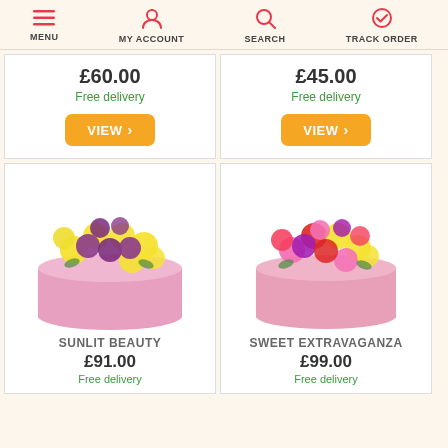MENU | MY ACCOUNT | SEARCH | TRACK ORDER
£60.00
Free delivery
£45.00
Free delivery
[Figure (photo): Yellow and purple roses in a pink cylindrical box - Sunlit Beauty]
SUNLIT BEAUTY
£91.00
Free delivery
[Figure (photo): Mixed colourful roses in a pink cylindrical box - Sweet Extravaganza]
SWEET EXTRAVAGANZA
£99.00
Free delivery